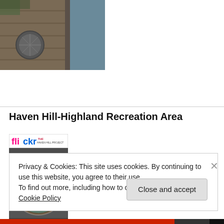[Figure (photo): Top portion of a wooden dock/boardwalk near water, with a metal grate/grate cover visible on the planks. Greenery and water in background.]
Haven Hill-Highland Recreation Area
[Figure (photo): Flickr photo showing a circular metal survey benchmark marker embedded in rock, with 'THE HAVEN HILL PROJECT' text at top. The marker is round, blue-green, with a triangle symbol in the center.]
Privacy & Cookies: This site uses cookies. By continuing to use this website, you agree to their use.
To find out more, including how to control cookies, see here: Cookie Policy